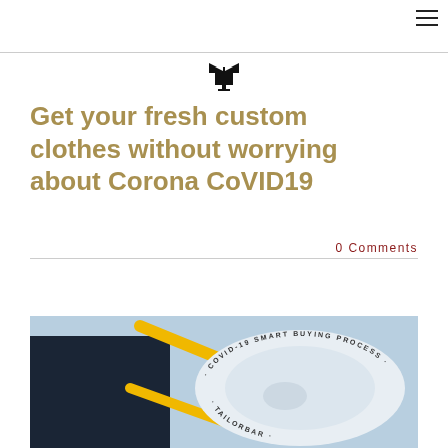[Figure (logo): Clothing brand logo icon — stylized garment/shirt on a stand]
Get your fresh custom clothes without worrying about Corona CoVID19
0 Comments
[Figure (photo): Person holding a white face mask/hat with text 'COVID-19 SMART BUYING PROCESS' printed around the brim, yellow straps visible, against a light blue background]